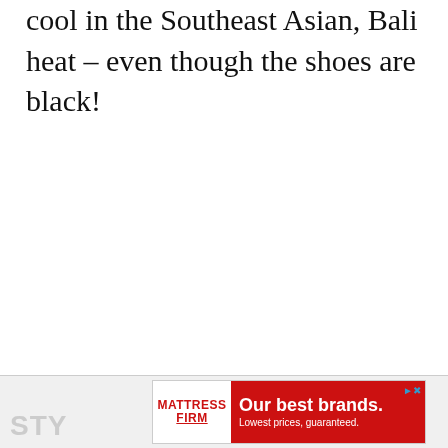cool in the Southeast Asian, Bali heat – even though the shoes are black!
[Figure (other): A thick horizontal black divider line]
STY
[Figure (other): Advertisement banner for Mattress Firm: 'Our best brands. Lowest prices, guaranteed.' with red background and Mattress Firm logo]